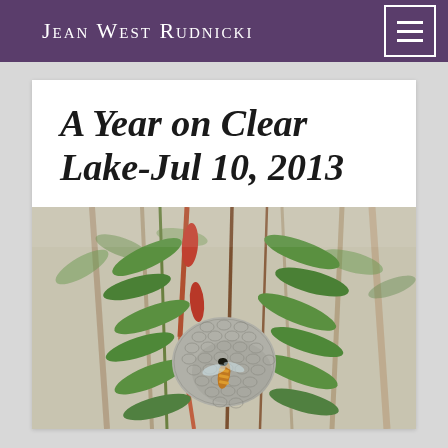Jean West Rudnicki
A Year on Clear Lake-Jul 10, 2013
[Figure (photo): Close-up photograph of a wasp nest attached to green shrub branches, with a wasp visible on the grey papery honeycomb nest structure, surrounded by green and reddish stems and leaves.]